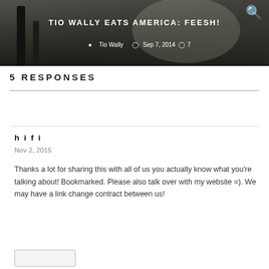[Figure (photo): Hero banner image showing a dark/grey background with an object (appears to be ice or glass), overlaid with blog post title 'TIO WALLY EATS AMERICA: FEESH!' and metadata showing author Tio Wally, date Sep 7, 2014, and 7 comments.]
5 RESPONSES
hifi
Nov 2, 2015
Thanks a lot for sharing this with all of us you actually know what you're talking about! Bookmarked. Please also talk over with my website =). We may have a link change contract between us!